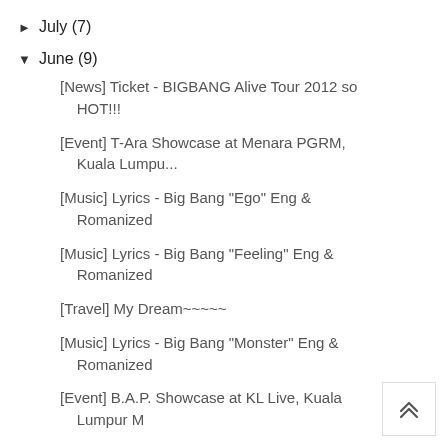► July (7)
▼ June (9)
[News] Ticket - BIGBANG Alive Tour 2012 so HOT!!!
[Event] T-Ara Showcase at Menara PGRM, Kuala Lumpu...
[Music] Lyrics - Big Bang "Ego" Eng & Romanized
[Music] Lyrics - Big Bang "Feeling" Eng & Romanized
[Travel] My Dream~~~~~
[Music] Lyrics - Big Bang "Monster" Eng & Romanized
[Event] B.A.P. Showcase at KL Live, Kuala Lumpur M...